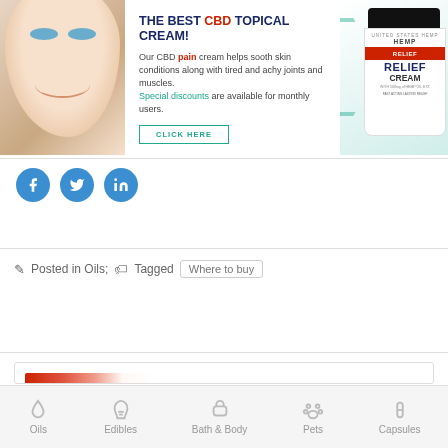[Figure (infographic): CBD Relief Cream advertisement banner with woman smiling on left, headline 'THE BEST CBD TOPICAL CREAM!', descriptive text, 'CLICK HERE' button, and product jar image on right]
[Figure (infographic): Social media share icons: Facebook, Twitter, LinkedIn - blue circular icons]
Posted in Oils;   Tagged   Where to buy
[Figure (photo): Partial image of a product at bottom of page, red/white coloring visible]
Oils   Edibles   Bath & Body   Pets   Capsules